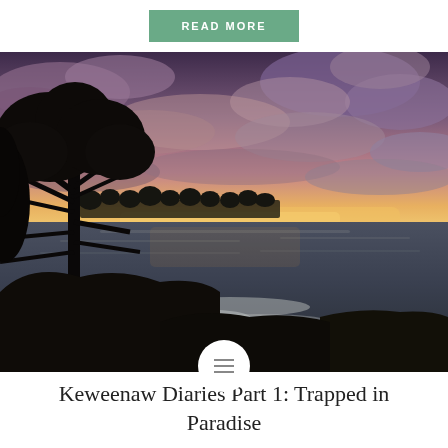READ MORE
[Figure (photo): Sunset or twilight landscape photo showing a dramatic sky with purple and pink clouds over a large lake or sea. Dark silhouettes of pine trees on the left shore with rocky coastline in the foreground. Warm golden light on the horizon.]
Keweenaw Diaries Part 1: Trapped in Paradise